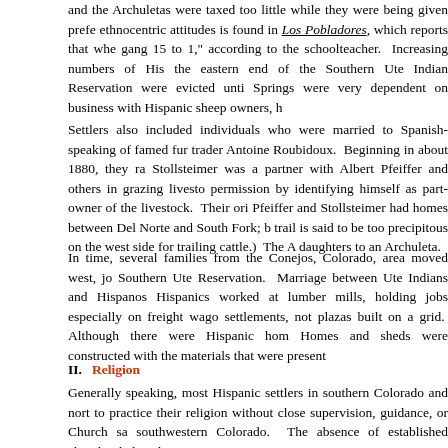and the Archuletas were taxed too little while they were being given prefe ethnocentric attitudes is found in Los Pobladores, which reports that whe gang 15 to 1," according to the schoolteacher. Increasing numbers of His the eastern end of the Southern Ute Indian Reservation were evicted unti Springs were very dependent on business with Hispanic sheep owners, h
Settlers also included individuals who were married to Spanish-speaking of famed fur trader Antoine Roubidoux. Beginning in about 1880, they ra Stollsteimer was a partner with Albert Pfeiffer and others in grazing livesto permission by identifying himself as part-owner of the livestock. Their ori Pfeiffer and Stollsteimer had homes between Del Norte and South Fork; b trail is said to be too precipitous on the west side for trailing cattle.) The A daughters to an Archuleta.
In time, several families from the Conejos, Colorado, area moved west, jo Southern Ute Reservation. Marriage between Ute Indians and Hispanos Hispanics worked at lumber mills, holding jobs especially on freight wago settlements, not plazas built on a grid. Although there were Hispanic hom Homes and sheds were constructed with the materials that were present
II.   Religion
Generally speaking, most Hispanic settlers in southern Colorado and nort to practice their religion without close supervision, guidance, or Church sa southwestern Colorado. The absence of established churches belies the
Without priests, the devout people frequently had small shrines with sacre Cofradia de Nuestro Padre Jesus Nazareno (also called La Hermandad d spiritual and social needs of the people. Meeting in a morada, a meetingl San Juan region were Penitentes, meeting at their moradas. Although Le were attending to important daily needs of their neighbors, such as perfor being recognized by the Catholic Church in the latter part of the 1880